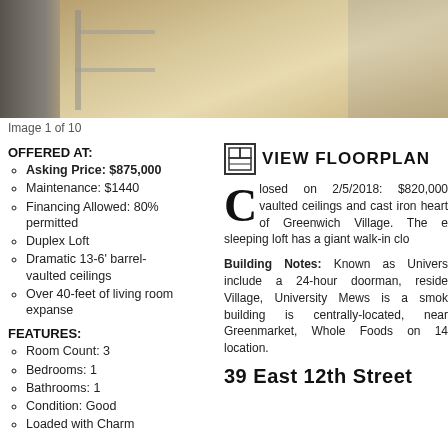[Figure (photo): Interior photo showing hardwood floors and metal shelving unit]
Image 1 of 10
OFFERED AT:
Asking Price: $875,000
Maintenance: $1440
Financing Allowed: 80% permitted
Duplex Loft
Dramatic 13-6' barrel-vaulted ceilings
Over 40-feet of living room expanse
FEATURES:
Room Count: 3
Bedrooms: 1
Bathrooms: 1
Condition: Good
Loaded with Charm
[Figure (illustration): Floorplan icon]
VIEW FLOORPLAN
Closed on 2/5/2018: $820,000 vaulted ceilings and cast iron heart of Greenwich Village. The e sleeping loft has a giant walk-in clo
Building Notes: Known as Univers include a 24-hour doorman, reside Village, University Mews is a smok building is centrally-located, near Greenmarket, Whole Foods on 14 location.
39 East 12th Street